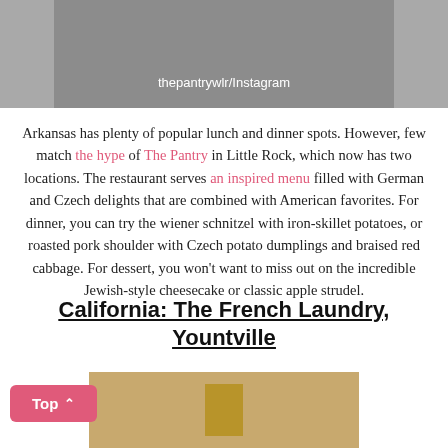[Figure (photo): Top portion of a photo with a grey background and the Instagram attribution label 'thepantrywlr/Instagram']
thepantrywlr/Instagram
Arkansas has plenty of popular lunch and dinner spots. However, few match the hype of The Pantry in Little Rock, which now has two locations. The restaurant serves an inspired menu filled with German and Czech delights that are combined with American favorites. For dinner, you can try the wiener schnitzel with iron-skillet potatoes, or roasted pork shoulder with Czech potato dumplings and braised red cabbage. For dessert, you won't want to miss out on the incredible Jewish-style cheesecake or classic apple strudel.
California: The French Laundry, Yountville
[Figure (photo): Bottom portion of a photo showing a tan/gold colored background with a vertical rectangular object centered]